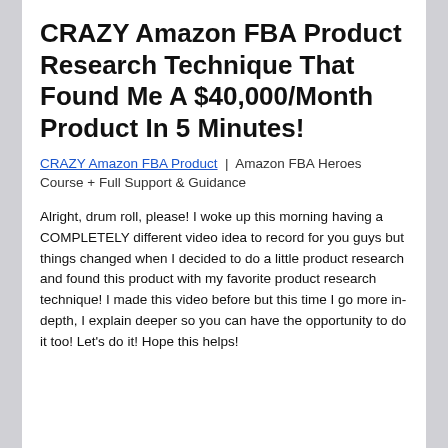CRAZY Amazon FBA Product Research Technique That Found Me A $40,000/Month Product In 5 Minutes!
CRAZY Amazon FBA Product | Amazon FBA Heroes Course + Full Support & Guidance
Alright, drum roll, please! I woke up this morning having a COMPLETELY different video idea to record for you guys but things changed when I decided to do a little product research and found this product with my favorite product research technique! I made this video before but this time I go more in-depth, I explain deeper so you can have the opportunity to do it too! Let's do it! Hope this helps!